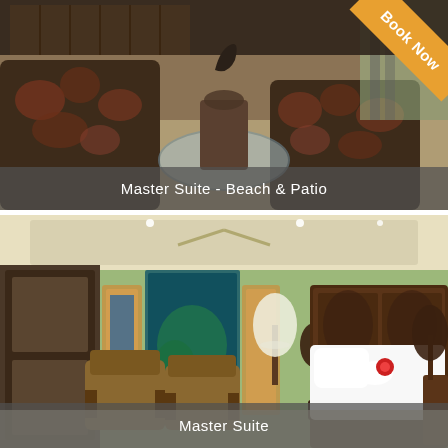[Figure (photo): Interior lounge area with patterned floral sofas and a round glass coffee table, warm tropical setting with shuttered windows. Caption overlay: Master Suite - Beach & Patio. Book Now ribbon in top right corner.]
Master Suite - Beach & Patio
[Figure (photo): Master suite bedroom with green walls, large ornate dark wood bed with white bedding and a red floral decoration, two lamps on nightstands, patterned armchairs visible in background, illuminated artwork panels on walls.]
Master Suite